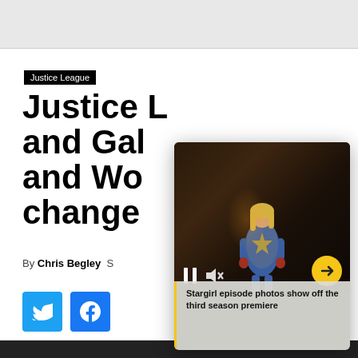Justice League
Justice League and Gal and Won changed
By Chris Begley  S...
[Figure (screenshot): Video overlay panel with 'Top Articles' header, showing a Stargirl TV show still image with video playback controls (pause and mute buttons), an arrow button, and a caption 'Stargirl episode photos show off the third season premiere']
Stargirl episode photos show off the third season premiere